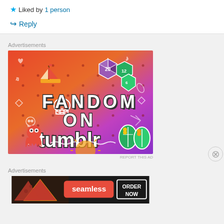★ Liked by 1 person
↪ Reply
Advertisements
[Figure (illustration): Tumblr Fandom advertisement with colorful gradient background (orange to purple) featuring doodle icons and text: FANDOM ON tumblr]
REPORT THIS AD
Advertisements
[Figure (illustration): Seamless food delivery advertisement showing pizza slices on the left, Seamless logo in center, and ORDER NOW button on right, dark background]